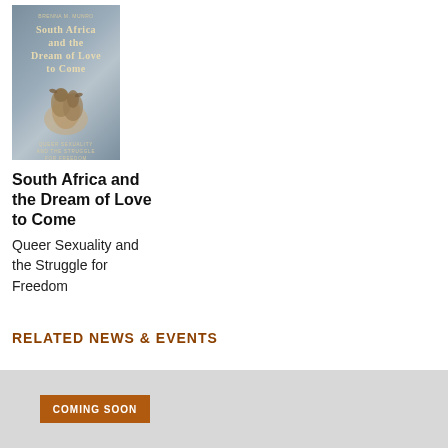[Figure (illustration): Book cover for 'South Africa and the Dream of Love to Come: Queer Sexuality and the Struggle for Freedom' by Brenna M. Munro. Cover features a muted blue-grey background with bird imagery and gold/cream title text.]
South Africa and the Dream of Love to Come
Queer Sexuality and the Struggle for Freedom
RELATED NEWS & EVENTS
COMING SOON